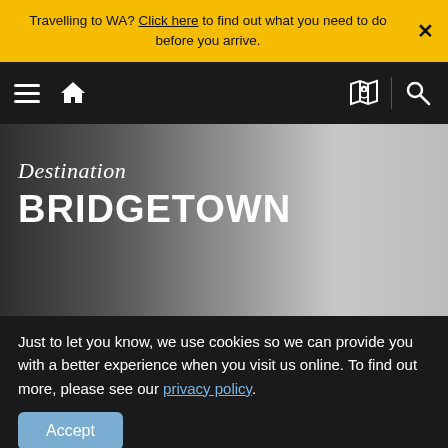Travelling to WA? Click here to find out what you need to do before you arrive.
[Figure (screenshot): Black navigation bar with hamburger menu, home icon on the left and map and search icons on the right]
[Figure (photo): Hero banner with gradient background from dark gray to light gray with 'Destination BRIDGETOWN' text overlay]
Destination BRIDGETOWN
Just to let you know, we use cookies so we can provide you with a better experience when you visit us online. To find out more, please see our privacy policy.